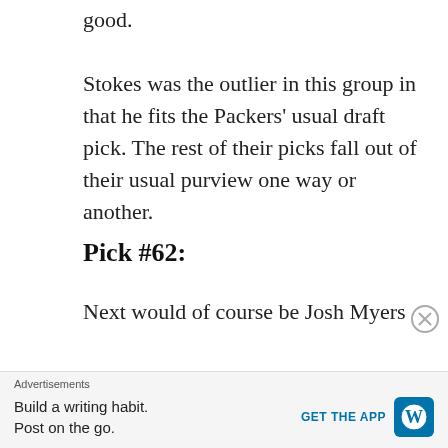good.
Stokes was the outlier in this group in that he fits the Packers' usual draft pick. The rest of their picks fall out of their usual purview one way or another.
Pick #62:
Next would of course be Josh Myers from Ohio State. He had no athletic testing due to recovery from offseason surgery. But based on his film he was not an elite athlete. It is highly doubtful he would have scored at 8.0+ on the RAS scale. A lot of fans though were
Advertisements
Build a writing habit.
Post on the go.
GET THE APP